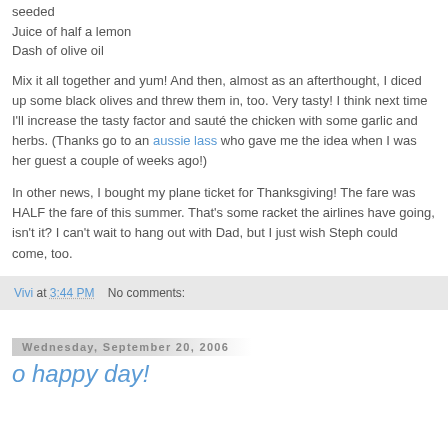seeded
Juice of half a lemon
Dash of olive oil
Mix it all together and yum! And then, almost as an afterthought, I diced up some black olives and threw them in, too. Very tasty! I think next time I'll increase the tasty factor and sauté the chicken with some garlic and herbs. (Thanks go to an aussie lass who gave me the idea when I was her guest a couple of weeks ago!)
In other news, I bought my plane ticket for Thanksgiving! The fare was HALF the fare of this summer. That's some racket the airlines have going, isn't it? I can't wait to hang out with Dad, but I just wish Steph could come, too.
Vivi at 3:44 PM    No comments:
Wednesday, September 20, 2006
o happy day!